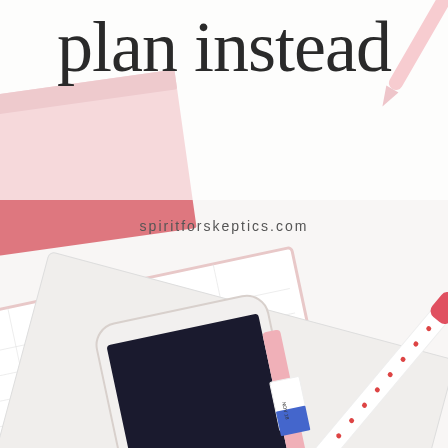[Figure (photo): Flatlay photo of a pink planner/notebook, a white iPhone resting on it with a pink case, a decorative pen with white polka-dot pattern and gold tip, and a red pen in the top-right corner, all on a white surface. The image has a bright, airy aesthetic.]
plan instead
spiritforskeptics.com